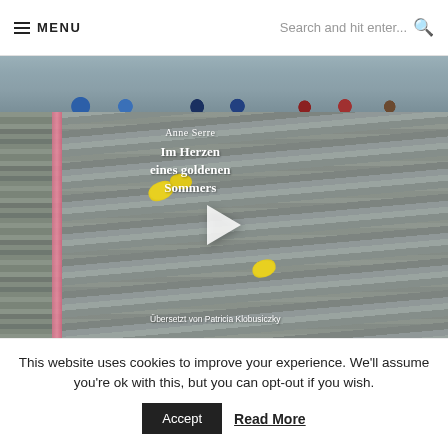MENU | Search and hit enter...
[Figure (photo): Cropped photo showing children's shoes/feet on a wooden deck surface]
[Figure (photo): Book cover photo of 'Im Herzen eines goldenen Sommers' by Anne Serre, translated by Patricia Klobusiczky, showing the book on a wooden deck with yellow lemons, with a play button overlay indicating a video]
This website uses cookies to improve your experience. We'll assume you're ok with this, but you can opt-out if you wish.
Accept | Read More